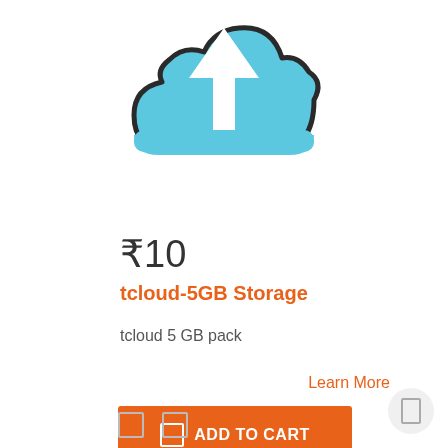[Figure (illustration): Cloud upload icon — a teal/blue cloud shape with a white upward arrow in the center, outlined in dark/black, on white background.]
₹10
tcloud-5GB Storage
tcloud 5 GB pack
Learn More